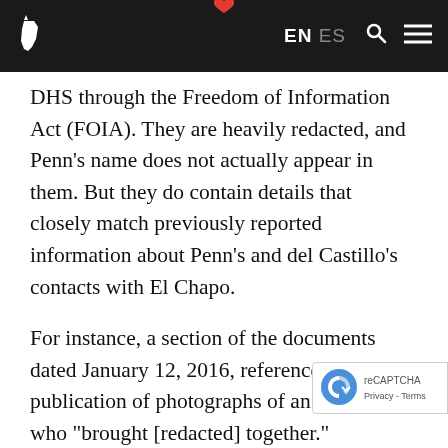EN  ES [navigation bar with logo, language toggle, search and menu icons]
DHS through the Freedom of Information Act (FOIA). They are heavily redacted, and Penn's name does not actually appear in them. But they do contain details that closely match previously reported information about Penn's and del Castillo's contacts with El Chapo.
For instance, a section of the documents dated January 12, 2016, references the publication of photographs of an "actress" who "brought [redacted] together."
This seems to refer to photographs of Penn and del Castillo that were reportedly taken by Mexican intelligence agents at the time of their meeting with El Chapo, and later published in...